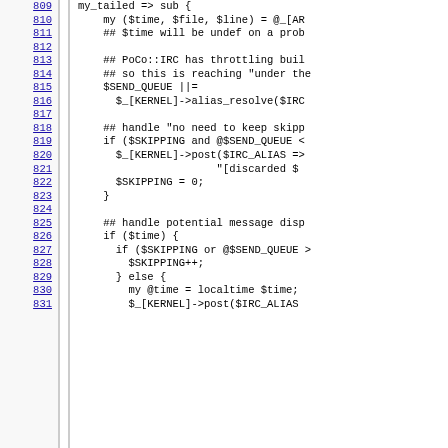[Figure (screenshot): Source code viewer showing Perl code lines 809-831 with line numbers on the left as blue hyperlinks and code content on the right. The code shows a subroutine with throttling logic, skip handling, and message dispatch.]